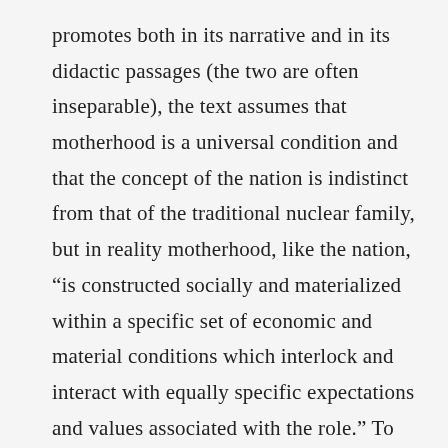promotes both in its narrative and in its didactic passages (the two are often inseparable), the text assumes that motherhood is a universal condition and that the concept of the nation is indistinct from that of the traditional nuclear family, but in reality motherhood, like the nation, “is constructed socially and materialized within a specific set of economic and material conditions which interlock and interact with equally specific expectations and values associated with the role.” To talk of the maternal, writes feminist critic Pam Morris, in the absence of historical and social specificity is “meaningless.” The naturalizing language of dominant (male) discourse mythicizes “woman” as “mother” in order to impose on women “the rigid obligation of the